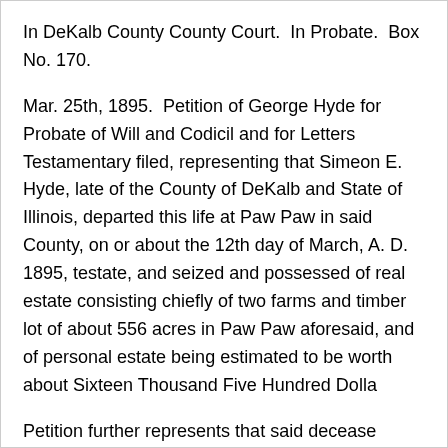In DeKalb County County Court.  In Probate.  Box No. 170.
Mar. 25th, 1895.  Petition of George Hyde for Probate of Will and Codicil and for Letters Testamentary filed, representing that Simeon E. Hyde, late of the County of DeKalb and State of Illinois, departed this life at Paw Paw in said County, on or about the 12th day of March, A. D. 1895, testate, and seized and possessed of real estate consisting chiefly of two farms and timber lot of about 556 acres in Paw Paw aforesaid, and of personal estate being estimated to be worth about Sixteen Thousand Five Hundred Dollars
Petition further represents that said deceased for...